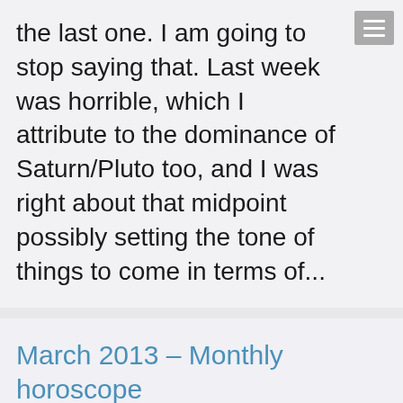the last one. I am going to stop saying that. Last week was horrible, which I attribute to the dominance of Saturn/Pluto too, and I was right about that midpoint possibly setting the tone of things to come in terms of...
March 2013 – Monthly horoscope
Blog · By joanna · March 5, 2013 · Leave a comment
How time flies! March horoscopes now up on Network She site, here's the link: http://www.networkshe.co.uk/category/horosc